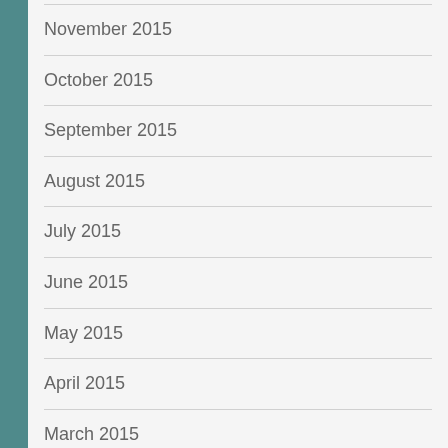November 2015
October 2015
September 2015
August 2015
July 2015
June 2015
May 2015
April 2015
March 2015